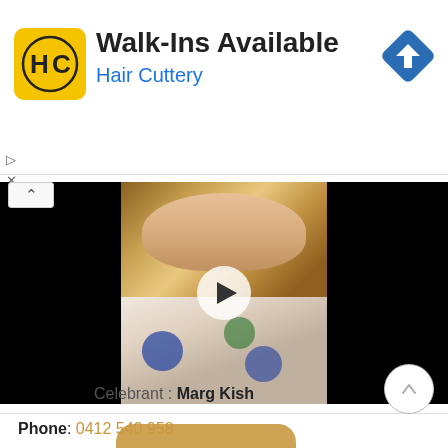[Figure (screenshot): Hair Cuttery advertisement banner with yellow logo showing HC, Walk-Ins Available text, and blue navigation icon]
Walk-Ins Available
Hair Cuttery
[Figure (photo): Video player showing a woman with curly blonde hair wearing a floral dress, with black letterbox bars on sides and a play button overlay]
Phone: 0412 540 958
Social: Celebrate with Marg
Celebrant : Marg Kish